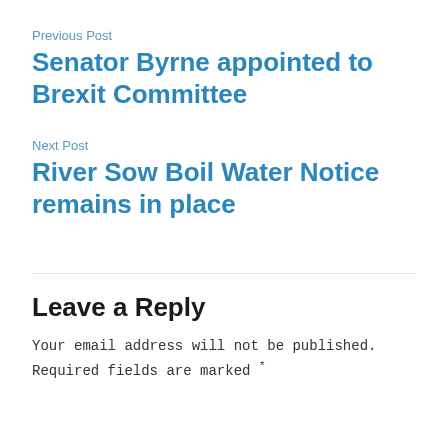Previous Post
Senator Byrne appointed to Brexit Committee
Next Post
River Sow Boil Water Notice remains in place
Leave a Reply
Your email address will not be published. Required fields are marked *